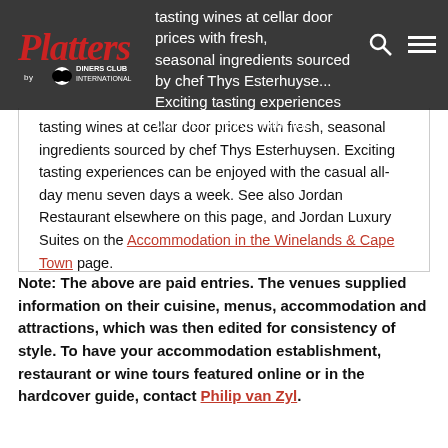Platters by Diners Club International
tasting wines at cellar door prices with fresh, seasonal ingredients sourced by chef Thys Esterhuysen. Exciting tasting experiences can be enjoyed with the casual all-day menu seven days a week. See also Jordan Restaurant elsewhere on this page, and Jordan Luxury Suites on the Accommodation in the Winelands & Cape Town page.
More information
Children welcome | VISA & MasterCard accepted | Breakfast, lunch & picnics. Picnics to be booked 48 hours in advance | Executive chef Thys Esterhuysen | Owners Owners Gary & Kathy Jordan
Note: The above are paid entries. The venues supplied information on their cuisine, menus, accommodation and attractions, which was then edited for consistency of style. To have your accommodation establishment, restaurant or wine tours featured online or in the hardcover guide, contact Philip van Zyl.